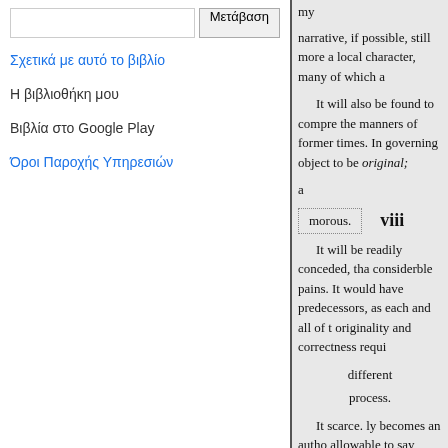[Figure (screenshot): Search input box with a Μετάβαση (Go) button]
Σχετικά με αυτό το βιβλίο
Η βιβλιοθήκη μου
Βιβλία στο Google Play
Όροι Παροχής Υπηρεσιών
my
narrative, if possible, still more a local character, many of which a
It will also be found to compre the manners of former times. In governing object to be original;
a
morous.
viii
It will be readily conceded, tha considerble pains. It would have predecessors, as each and all of t originality and correctness requi
different
process.
It scarce. ly becomes an autho allowable to say something in th rely upon the
accuracy of the details which he